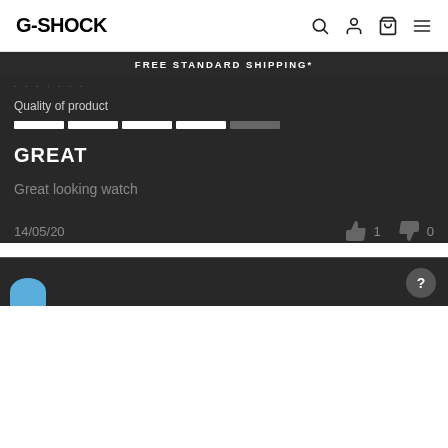G-SHOCK
FREE STANDARD SHIPPING*
Quality of product
GREAT
Great looking watch
14/05/20  👍 1  👎 0